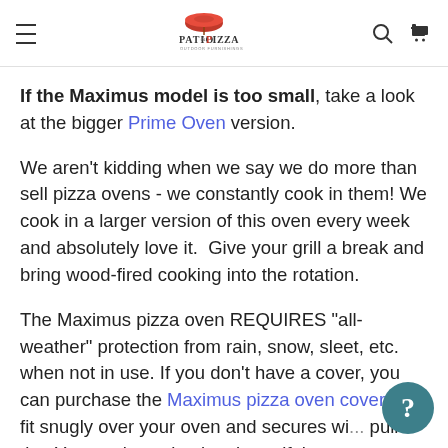Patio & Pizza Outdoor Furnishings — navigation header
If the Maximus model is too small, take a look at the bigger Prime Oven version.
We aren't kidding when we say we do more than sell pizza ovens - we constantly cook in them! We cook in a larger version of this oven every week and absolutely love it.  Give your grill a break and bring wood-fired cooking into the rotation.
The Maximus pizza oven REQUIRES "all-weather" protection from rain, snow, sleet, etc. when not in use. If you don't have a cover, you can purchase the Maximus pizza oven cover will fit snugly over your oven and secures wi... pull tie.  You are investing in a beautiful oven